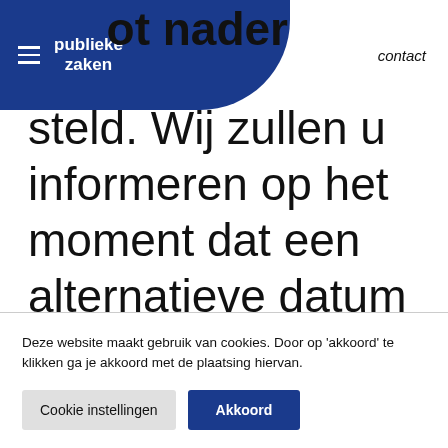publieke zaken | contact
ot nader
steld. Wij zullen u informeren op het moment dat een alternatieve datum bekend is.
Deze website maakt gebruik van cookies. Door op 'akkoord' te klikken ga je akkoord met de plaatsing hiervan.